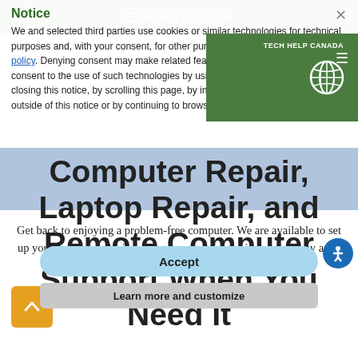Hosting & Domains
Notice
We and selected third parties use cookies or similar technologies for technical purposes and, with your consent, for other purposes as specified in the cookie policy. Denying consent may make related features unavailable. You can consent to the use of such technologies by using the "Accept" button, by closing this notice, by scrolling this page, by interacting with any link or button outside of this notice or by continuing to browse otherwise.
[Figure (logo): Tech Help Canada logo with globe icon on green background]
Computer Repair, Laptop Repair, and Remote Computer Support When You Need It
Accept
Learn more and customize
Get back to enjoying a problem-free computer. We are available to set up your computer, devices, diagnose and fix any issues that may arise on-site (in-home) or remote (over the Internet).